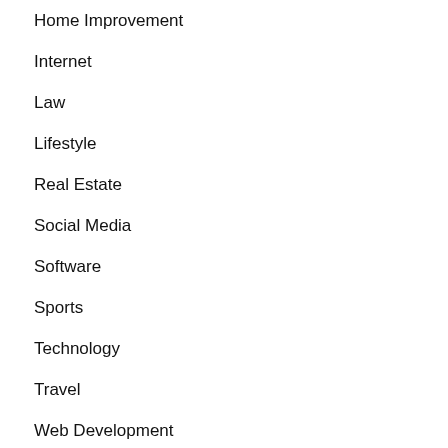Home Improvement
Internet
Law
Lifestyle
Real Estate
Social Media
Software
Sports
Technology
Travel
Web Development